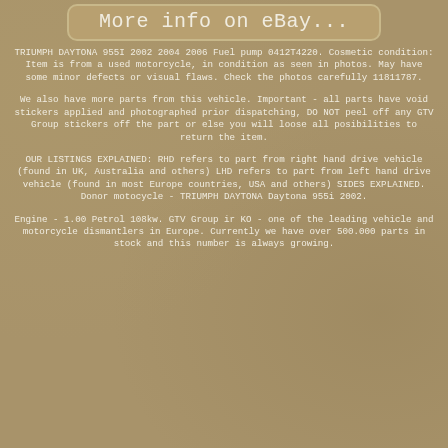[Figure (other): eBay banner button with rounded rectangle border reading 'More info on eBay...']
TRIUMPH DAYTONA 955I 2002 2004 2006 Fuel pump 0412T4220. Cosmetic condition: Item is from a used motorcycle, in condition as seen in photos. May have some minor defects or visual flaws. Check the photos carefully 11811787.
We also have more parts from this vehicle. Important - all parts have void stickers applied and photographed prior dispatching, DO NOT peel off any GTV Group stickers off the part or else you will loose all posibilities to return the item.
OUR LISTINGS EXPLAINED: RHD refers to part from right hand drive vehicle (found in UK, Australia and others) LHD refers to part from left hand drive vehicle (found in most Europe countries, USA and others) SIDES EXPLAINED. Donor motocycle - TRIUMPH DAYTONA Daytona 955i 2002.
Engine - 1.00 Petrol 108kw. GTV Group ir KO - one of the leading vehicle and motorcycle dismantlers in Europe. Currently we have over 500.000 parts in stock and this number is always growing.